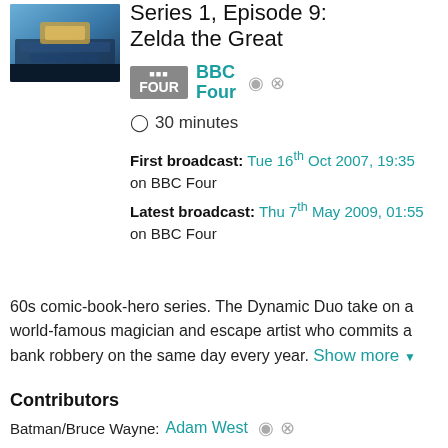[Figure (photo): Thumbnail image of a scene from the TV show]
Series 1, Episode 9: Zelda the Great
BBC Four
30 minutes
First broadcast: Tue 16th Oct 2007, 19:35 on BBC Four
Latest broadcast: Thu 7th May 2009, 01:55 on BBC Four
60s comic-book-hero series. The Dynamic Duo take on a world-famous magician and escape artist who commits a bank robbery on the same day every year. Show more
Contributors
Batman/Bruce Wayne: Adam West